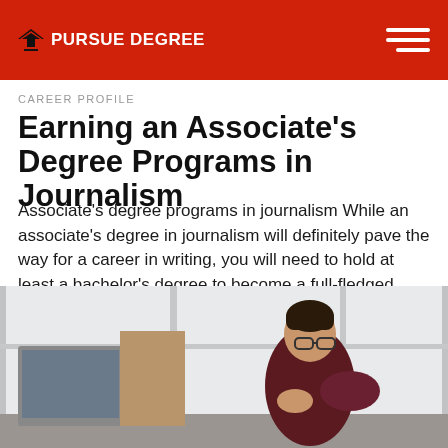PURSUE DEGREE
CAREER PROFILE
Earning an Associate's Degree Programs in Journalism
Associate's degree programs in journalism While an associate's degree in journalism will definitely pave the way for a career in writing, you will need to hold at least a bachelor's degree to become a full-fledged...
By Team Pursue Degree  6 years ago
[Figure (photo): Young man with glasses sitting at a desk working at a computer in a bright office with large windows]